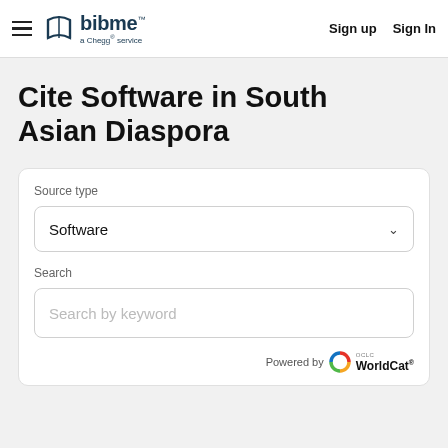BibMe — a Chegg® service | Sign up | Sign In
Cite Software in South Asian Diaspora
Source type
Software
Search
Search by keyword
Powered by OCLC WorldCat